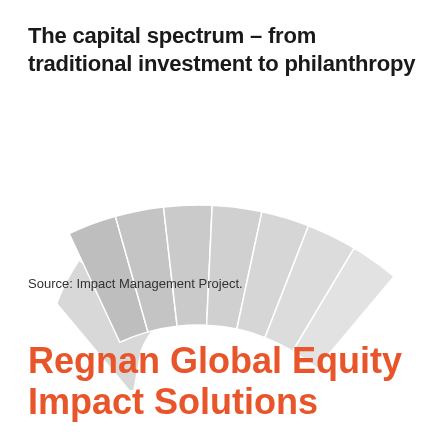The capital spectrum – from traditional investment to philanthropy
[Figure (other): A fan/arc shaped diagram showing the capital spectrum from traditional investment to philanthropy, rendered as a quarter-circle arc divided into multiple segments with light gray fill and white dividing lines.]
Source: Impact Management Project.
Regnan Global Equity Impact Solutions